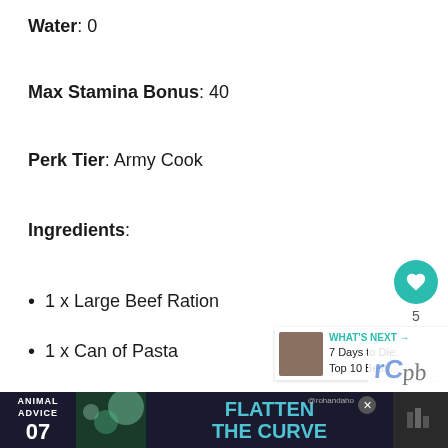Water: 0
Max Stamina Bonus: 40
Perk Tier: Army Cook
Ingredients:
1 x Large Beef Ration
1 x Can of Pasta
1 x Mushrooms
2 x Animal Fat
1 x Boiled Water
[Figure (infographic): Advertisement banner at bottom: dark background with 'ANIMAL ADVICE 07' on left, decorative image, 'FLATTEN THE CURVE' text in teal, social media handle @rohandaho, and close button]
[Figure (infographic): Social sidebar with heart button (teal, count 5) and share button, plus What's Next panel showing '7 Days to Die: Top 10 Best...' with thumbnail]